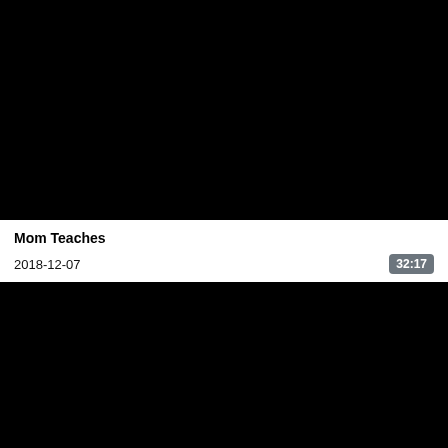[Figure (screenshot): Black video thumbnail placeholder, top]
Mom Teaches
2018-12-07
32:17
[Figure (screenshot): Black video thumbnail placeholder, bottom]